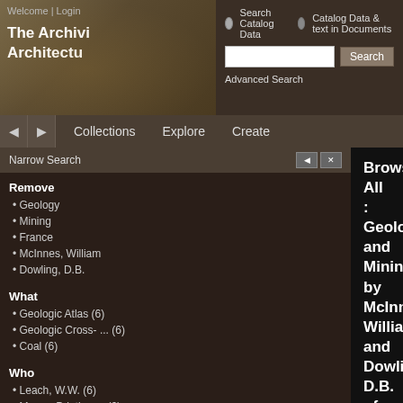Welcome | Login | The Archivi Architectu
Search Catalog Data | Catalog Data & text in Documents | Search | Advanced Search
Collections | Explore | Create
Narrow Search
Remove
Geology
Mining
France
McInnes, William
Dowling, D.B.
What
Geologic Atlas (6)
Geologic Cross- ... (6)
Coal (6)
Who
Leach, W.W. (6)
Murray Printing ... (6)
When
1913 (6)
Browse All : Geology and Mining by McInnes, William and Dowling, D.B. of France
1-6 of 6
[Figure (map): Geologic cross-section map of France showing coal basin with pink and blue colored strata layers]
McInnes, William, Dowling, D ...
Cross-sections in France. Co ...
1913
Geologic Atlas